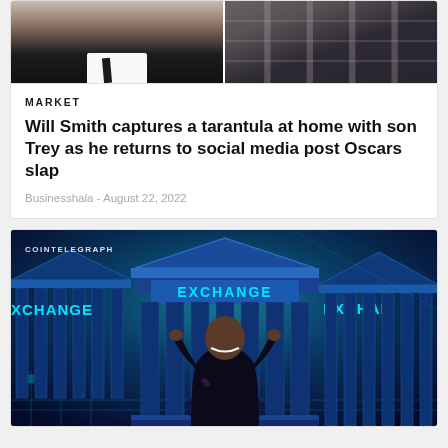[Figure (photo): Top portion of an article card showing two people: a person in a black suit on the left, and a person in a plaid jacket on the right. Images are cropped at the top.]
MARKET
Will Smith captures a tarantula at home with son Trey as he returns to social media post Oscars slap
Businesshala - August 22, 2022
[Figure (illustration): Cointelegraph illustration showing a person from behind (hands on head) looking at three classical building-style crypto exchange facades with neon 'EXCHANGE' signs glowing in blue, set against a purple/teal gradient background with circuit board patterns.]